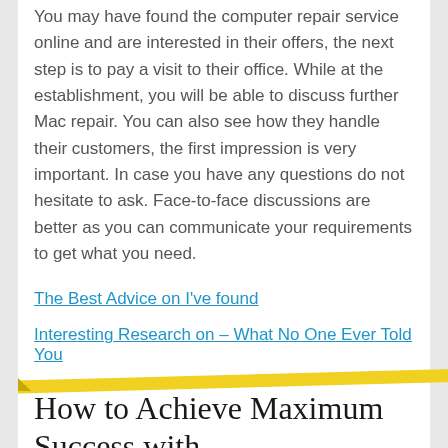You may have found the computer repair service online and are interested in their offers, the next step is to pay a visit to their office. While at the establishment, you will be able to discuss further Mac repair. You can also see how they handle their customers, the first impression is very important. In case you have any questions do not hesitate to ask. Face-to-face discussions are better as you can communicate your requirements to get what you need.
The Best Advice on I've found
Interesting Research on – What No One Ever Told You
How to Achieve Maximum Success with